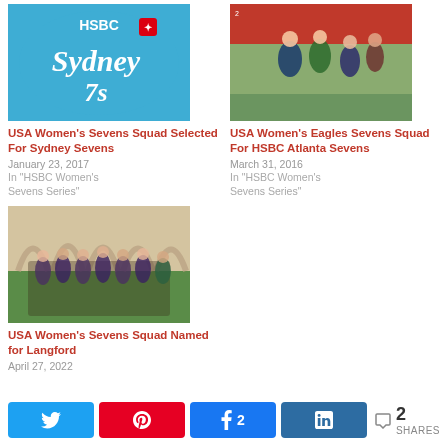[Figure (photo): Sydney 7s HSBC logo on blue background]
USA Women's Sevens Squad Selected For Sydney Sevens
January 23, 2017
In "HSBC Women's Sevens Series"
[Figure (photo): USA Women's Eagles rugby players in action during a match]
USA Women's Eagles Sevens Squad For HSBC Atlanta Sevens
March 31, 2016
In "HSBC Women's Sevens Series"
[Figure (photo): USA Women's Sevens Squad team photo outdoors]
USA Women's Sevens Squad Named for Langford
April 27, 2022
Twitter share button, Pinterest share button, Facebook share button with count 2, LinkedIn share button, total shares: 2 SHARES